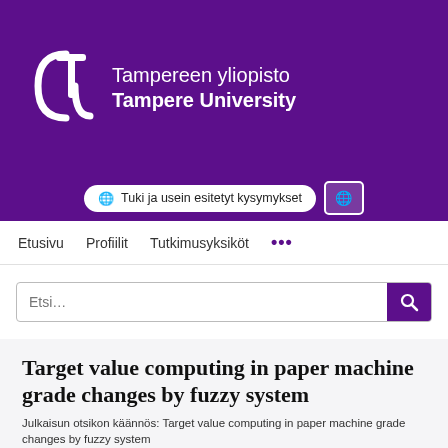[Figure (logo): Tampereen yliopisto / Tampere University logo on purple background with white stylized T bracket icon and university name in white text]
🌐 Tuki ja usein esitetyt kysymykset | 🌐
Etusivu   Profiilit   Tutkimusyksiköt   •••
Etsi…
Target value computing in paper machine grade changes by fuzzy system
Julkaisun otsikon käännös: Target value computing in paper machine grade changes by fuzzy system